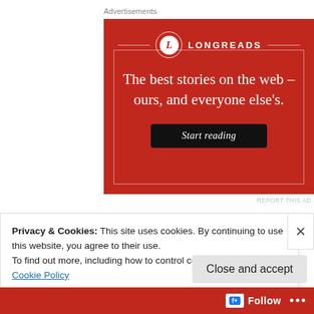Advertisements
[Figure (illustration): Longreads advertisement banner on red background. Shows Longreads logo (circle with L) and text: 'The best stories on the web – ours, and everyone else's.' with a black 'Start reading' button.]
REPORT THIS AD
Privacy & Cookies: This site uses cookies. By continuing to use this website, you agree to their use.
To find out more, including how to control cookies, see here: Cookie Policy
Close and accept
Follow